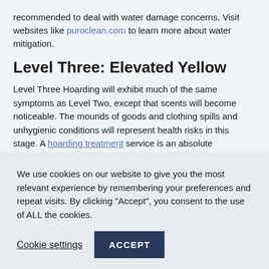recommended to deal with water damage concerns. Visit websites like puroclean.com to learn more about water mitigation.
Level Three: Elevated Yellow
Level Three Hoarding will exhibit much of the same symptoms as Level Two, except that scents will become noticeable. The mounds of goods and clothing spills and unhygienic conditions will represent health risks in this stage. A hoarding treatment service is an absolute
We use cookies on our website to give you the most relevant experience by remembering your preferences and repeat visits. By clicking “Accept”, you consent to the use of ALL the cookies.
Cookie settings | ACCEPT